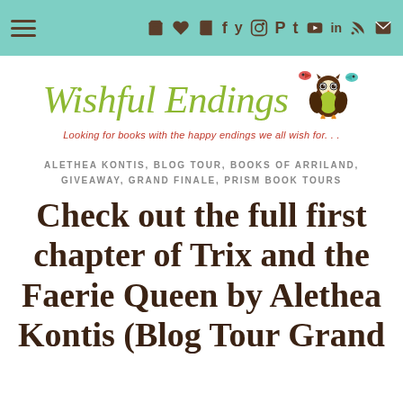Navigation bar with hamburger menu, cart, heart, book, facebook, twitter, instagram, pinterest, tumblr, youtube, linkedin, rss, email icons
[Figure (logo): Wishful Endings blog logo with cursive green text and an illustrated owl with colorful birds. Tagline: Looking for books with the happy endings we all wish for...]
ALETHEA KONTIS, BLOG TOUR, BOOKS OF ARRILAND, GIVEAWAY, GRAND FINALE, PRISM BOOK TOURS
Check out the full first chapter of Trix and the Faerie Queen by Alethea Kontis (Blog Tour Grand